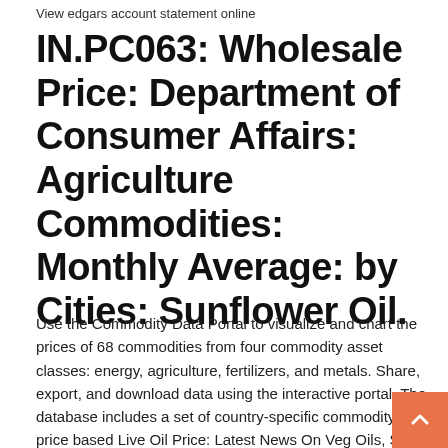View edgars account statement online
IN.PC063: Wholesale Price: Department of Consumer Affairs: Agriculture Commodities: Monthly Average: by Cities: Sunflower Oil.
Use the Commodity Data Portal to visualize and chart the prices of 68 commodities from four commodity asset classes: energy, agriculture, fertilizers, and metals. Share, export, and download data using the interactive portal. The database includes a set of country-specific commodity-price based Live Oil Price: Latest News On Veg Oils, Spot & Futures Prices Of Veg Oils, Technical Analysis, Crude Oil Quotes and Price, Oil Report, Commodity Market India Get the latest commodity trading